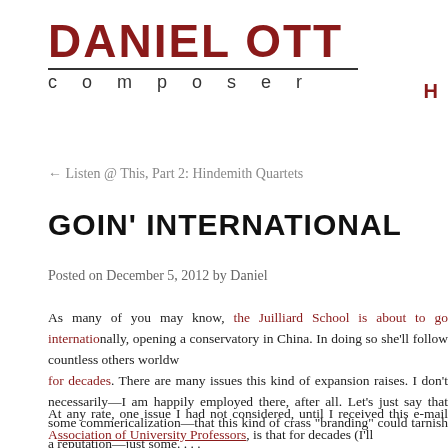DANIEL OTT composer
← Listen @ This, Part 2: Hindemith Quartets
GOIN' INTERNATIONAL
Posted on December 5, 2012 by Daniel
As many of you may know, the Juilliard School is about to go internationally, opening a conservatory in China. In doing so she'll follow countless others worldwide for decades. There are many issues this kind of expansion raises. I don't necessarily—I am happily employed there, after all. Let's just say that some commericalization—that this kind of crass "branding" could tarnish a reputation—just some. . . .
At any rate, one issue I had not considered, until I received this e-mail from the Association of University Professors, is that...